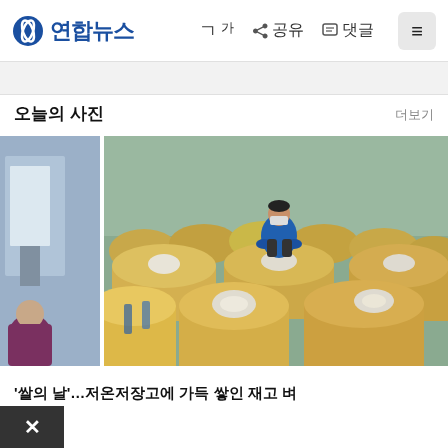연합뉴스  가가  공유  댓글
오늘의 사진
더보기
[Figure (photo): Left thumbnail photo showing people at an event, partially visible]
[Figure (photo): Main photo: a man sitting atop large burlap sacks of grain/rice piled high in a cold storage warehouse]
'쌀의 날'…저온저장고에 가득 쌓인 재고 벼